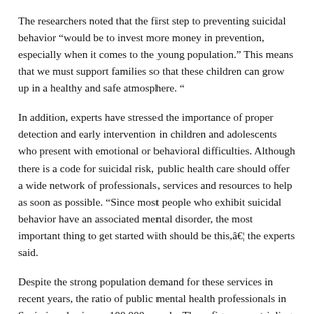The researchers noted that the first step to preventing suicidal behavior “would be to invest more money in prevention, especially when it comes to the young population.” This means that we must support families so that these children can grow up in a healthy and safe atmosphere. “
In addition, experts have stressed the importance of proper detection and early intervention in children and adolescents who present with emotional or behavioral difficulties. Although there is a code for suicidal risk, public health care should offer a wide network of professionals, services and resources to help as soon as possible. “Since most people who exhibit suicidal behavior have an associated mental disorder, the most important thing to get started with should be this,â€¦ the experts said.
Despite the strong population demand for these services in recent years, the ratio of public mental health professionals in Spain is only six per 100,000 people. Those figures are tripling in